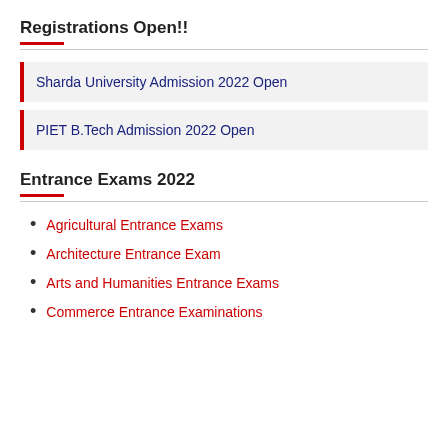Registrations Open!!
Sharda University Admission 2022 Open
PIET B.Tech Admission 2022 Open
Entrance Exams 2022
Agricultural Entrance Exams
Architecture Entrance Exam
Arts and Humanities Entrance Exams
Commerce Entrance Examinations